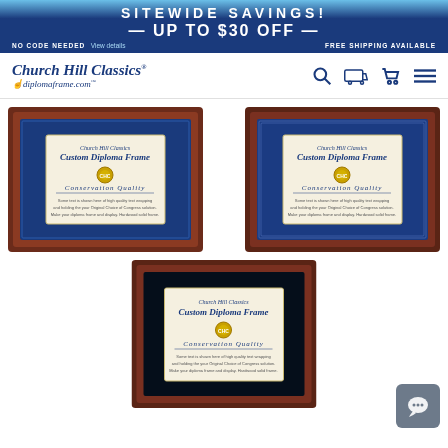SITEWIDE SAVINGS! UP TO $30 OFF — NO CODE NEEDED View details FREE SHIPPING AVAILABLE
[Figure (screenshot): Church Hill Classics diplomaframe.com logo with navigation icons (search, truck, cart, menu)]
[Figure (photo): Custom Diploma Frame with blue mat, mahogany frame - top left product]
[Figure (photo): Custom Diploma Frame with blue mat, mahogany frame - top right product]
[Figure (photo): Custom Diploma Frame with dark mat, mahogany frame - bottom center product]